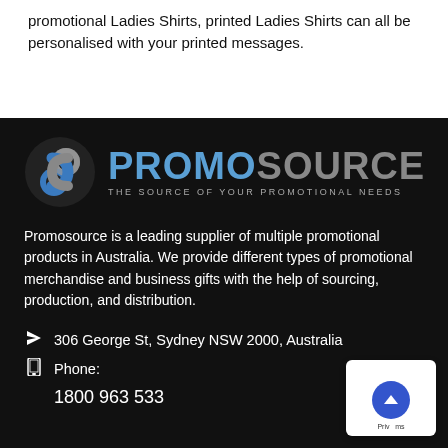promotional Ladies Shirts, printed Ladies Shirts can all be personalised with your printed messages.
[Figure (logo): PromoSource logo: blue and grey stylized S icon with PROMO in blue and SOURCE in grey, tagline THE SOURCE OF YOUR PROMOTIONAL NEEDS]
Promosource is a leading supplier of multiple promotional products in Australia. We provide different types of promotional merchandise and business gifts with the help of sourcing, production, and distribution.
306 George St, Sydney NSW 2000, Australia
Phone:
1800 963 533